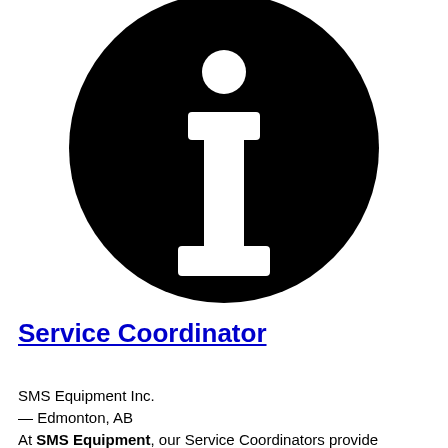[Figure (logo): Large black circle with white lowercase letter 'i' (information icon) centered inside it.]
Service Coordinator
SMS Equipment Inc.
— Edmonton, AB
At SMS Equipment, our Service Coordinators provide